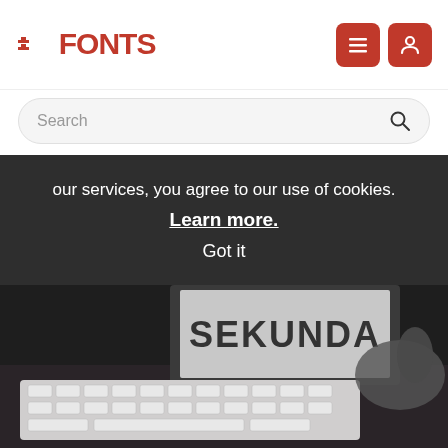FFONTS
Search
our services, you agree to our use of cookies. Learn more. Got it
[Figure (photo): Black and white photo of a computer keyboard and a hand holding something, with a monitor screen showing 'SEKUNDA' text in the background]